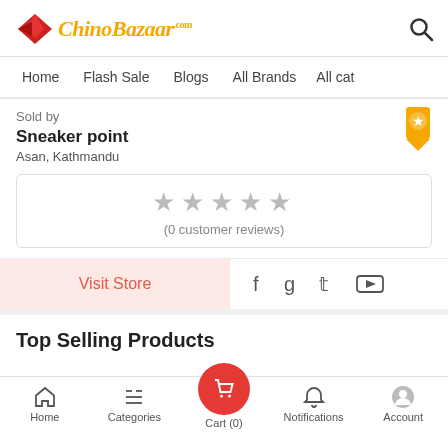ChinoBazaar.com
Home | Flash Sale | Blogs | All Brands | All cat
Sold by
Sneaker point
Asan, Kathmandu
(0 customer reviews)
Visit Store
Top Selling Products
Home | Categories | Cart (0) | Notifications | Account